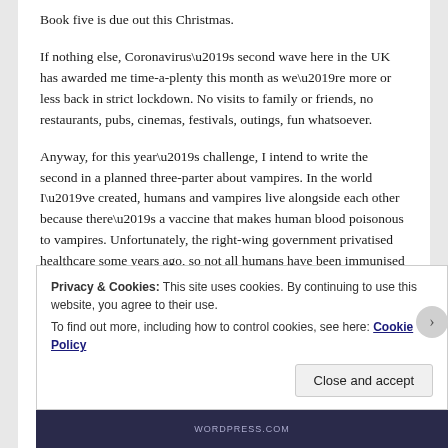Book five is due out this Christmas.
If nothing else, Coronavirus’s second wave here in the UK has awarded me time-a-plenty this month as we’re more or less back in strict lockdown. No visits to family or friends, no restaurants, pubs, cinemas, festivals, outings, fun whatsoever.
Anyway, for this year’s challenge, I intend to write the second in a planned three-parter about vampires. In the world I’ve created, humans and vampires live alongside each other because there’s a vaccine that makes human blood poisonous to vampires. Unfortunately, the right-wing government privatised healthcare some years ago, so not all humans have been immunised and the vaccination is now incredibly expensive.
Privacy & Cookies: This site uses cookies. By continuing to use this website, you agree to their use.
To find out more, including how to control cookies, see here: Cookie Policy